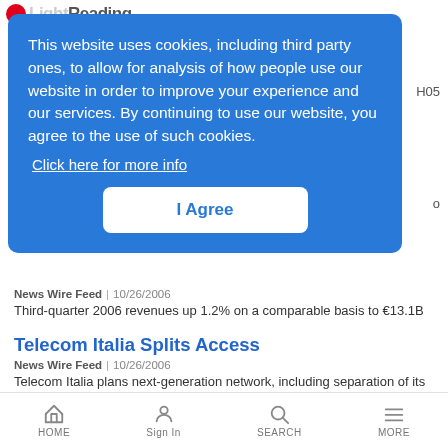LightReading
This website uses cookies, including third party ones, to allow for analysis of how people use our website in order to improve your experience and our services. By continuing to use our website, you agree to the use of such cookies.
Click here for more info
I Agree
News Wire Feed | 10/26/2006
Third-quarter 2006 revenues up 1.2% on a comparable basis to €13.1B
Telecom Italia Splits Access
News Wire Feed | 10/26/2006
Telecom Italia plans next-generation network, including separation of its access network.
HOME  Sign In  SEARCH  MORE